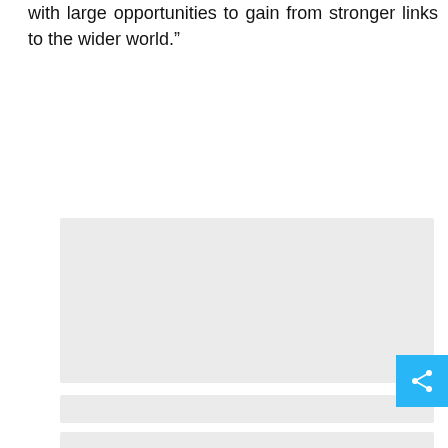with large opportunities to gain from stronger links to the wider world.”
[Figure (other): Large light gray placeholder rectangle (image or content block)]
[Figure (other): Narrow light gray placeholder rectangle (caption or content bar)]
[Figure (other): Narrow light gray placeholder rectangle (caption or content bar)]
[Figure (other): Large light gray placeholder rectangle (image or content block, partially visible)]